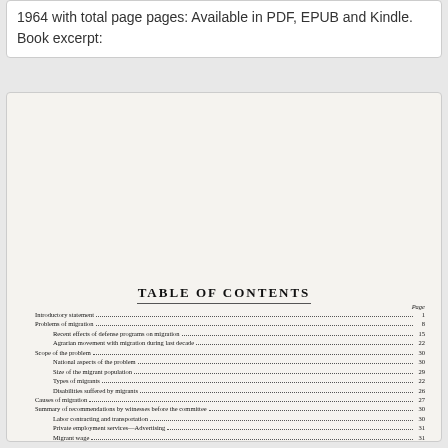1964 with total page pages. Available in PDF, EPUB and Kindle. Book excerpt:
TABLE OF CONTENTS
Introductory statement............................................................................1
Problems of migration..............................................................................8
Recent effects of defense programs on migration.............................15
Agrarian movement with migration during last decade.....................22
Scope of the problem...............................................................................30
National aspects of the problem.............................................................30
Size of the migrant population.................................................................29
Types of migrants.....................................................................................22
Disabilities suffered by migrants..............................................................26
Causes of migration..................................................................................27
Summary of recommendations by witnesses before the committee........30
Labor contracting and transportation......................................................30
Private employment services—Advertising............................................31
Migrant wage.............................................................................................31
Minority concerns with interstate social matters, elections...